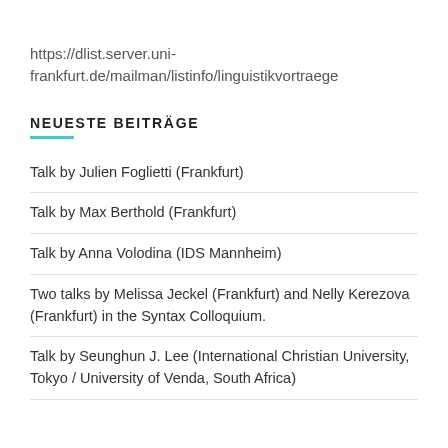https://dlist.server.uni-frankfurt.de/mailman/listinfo/linguistikvortraege
NEUESTE BEITRÄGE
Talk by Julien Foglietti (Frankfurt)
Talk by Max Berthold (Frankfurt)
Talk by Anna Volodina (IDS Mannheim)
Two talks by Melissa Jeckel (Frankfurt) and Nelly Kerezova (Frankfurt) in the Syntax Colloquium.
Talk by Seunghun J. Lee (International Christian University, Tokyo / University of Venda, South Africa)